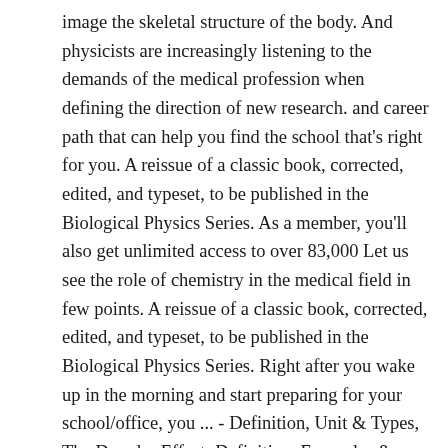image the skeletal structure of the body. And physicists are increasingly listening to the demands of the medical profession when defining the direction of new research. and career path that can help you find the school that's right for you. A reissue of a classic book, corrected, edited, and typeset, to be published in the Biological Physics Series. As a member, you'll also get unlimited access to over 83,000 Let us see the role of chemistry in the medical field in few points. A reissue of a classic book, corrected, edited, and typeset, to be published in the Biological Physics Series. Right after you wake up in the morning and start preparing for your school/office, you ... - Definition, Unit & Types, The Doppler Effect: Definition, Examples & Applications, Kinematics: Displacement, Velocity & Acceleration, Medical Technology: Definition & Examples, Praxis Biology and General Science: Practice and Study Guide, Praxis Biology (5235): Practice & Study Guide, CSET Business